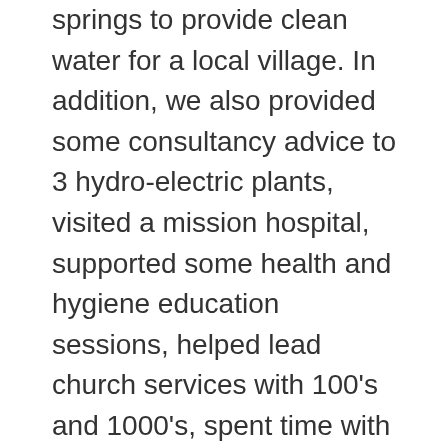springs to provide clean water for a local village. In addition, we also provided some consultancy advice to 3 hydro-electric plants, visited a mission hospital, supported some health and hygiene education sessions, helped lead church services with 100's and 1000's, spent time with some orphaned and disabled children, and finally, put on various activity days for well over 1000 children and young people!
Following our very busy trip, it will take a while for us all to fully reflect on what we learned as a team and individually. If you have been to Africa you will know that it is